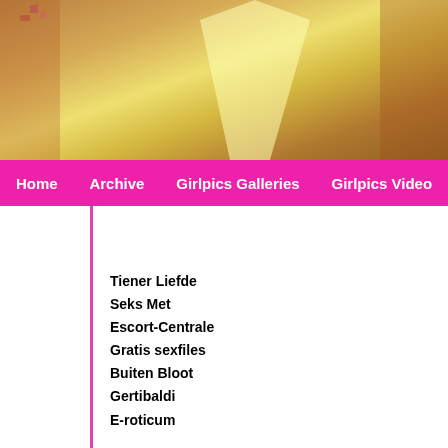[Figure (photo): Blurred colorful header image with warm tones, yellow and brown gradient]
Home | Archive | Girlpics Galleries | Girlpics Video
Tiener Liefde
Seks Met
Escort-Centrale
Gratis sexfiles
Buiten Bloot
Gertibaldi
E-roticum
[Figure (photo): Live cam thumbnail showing a girl, part of a live chat widget]
fitprincess is live
She lov... CAM NO... bimboliv...
[Figure (photo): Small broken image placeholder icon]
Name
[Figure (photo): Beige/cream colored image block at bottom right]